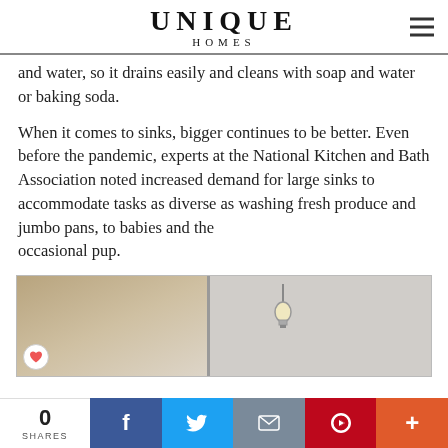UNIQUE HOMES
and water, so it drains easily and cleans with soap and water or baking soda.
When it comes to sinks, bigger continues to be better. Even before the pandemic, experts at the National Kitchen and Bath Association noted increased demand for large sinks to accommodate tasks as diverse as washing fresh produce and jumbo pans, to babies and the occasional pup.
[Figure (photo): Interior photo showing wooden surface on left and a hanging light bulb on right, separated by a vertical divider]
0 SHARES | social share buttons: Facebook, Twitter, Email, Pinterest, More